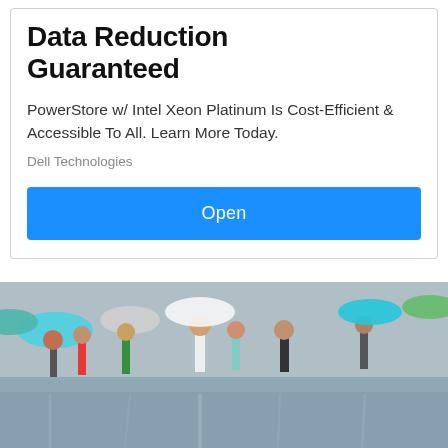Data Reduction Guaranteed
PowerStore w/ Intel Xeon Platinum Is Cost-Efficient & Accessible To All. Learn More Today.
Dell Technologies
Open
[Figure (photo): Crowd of people walking in the rain holding colorful umbrellas on a wet reflective street, seen from behind]